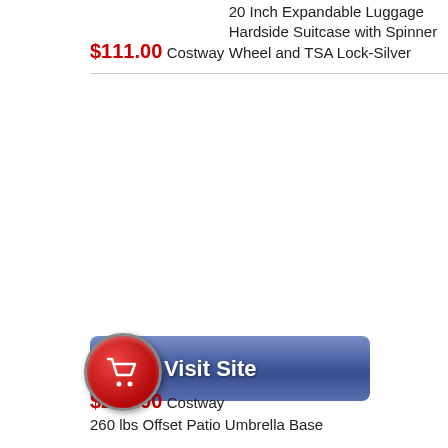$111.00
Costway
20 Inch Expandable Luggage Hardside Suitcase with Spinner Wheel and TSA Lock-Silver
[Figure (other): Visit Site button with shopping cart icon on red circle and blue background]
$248.00
Costway
260 lbs Offset Patio Umbrella Base